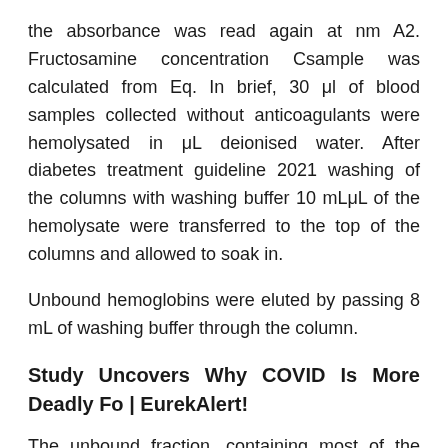the absorbance was read again at nm A2. Fructosamine concentration Csample was calculated from Eq. In brief, 30 μl of blood samples collected without anticoagulants were hemolysated in μL deionised water. After diabetes treatment guideline 2021 washing of the columns with washing buffer 10 mLμL of the hemolysate were transferred to the top of the columns and allowed to soak in.
Unbound hemoglobins were eluted by passing 8 mL of washing buffer through the column.
Study Uncovers Why COVID Is More Deadly Fo | EurekAlert!
The unbound fraction, containing most of the hemoglobin was diluted to 15 mL with washing